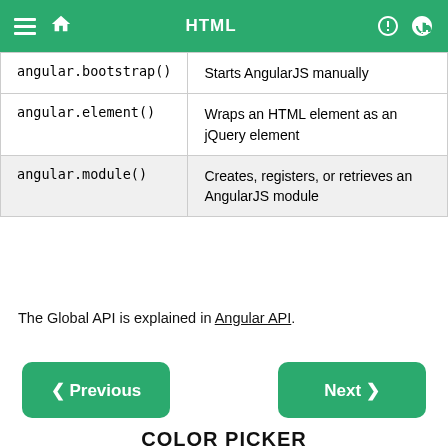HTML
| angular.bootstrap() | Starts AngularJS manually |
| angular.element() | Wraps an HTML element as an jQuery element |
| angular.module() | Creates, registers, or retrieves an AngularJS module |
The Global API is explained in Angular API.
❮ Previous
Next ❯
COLOR PICKER